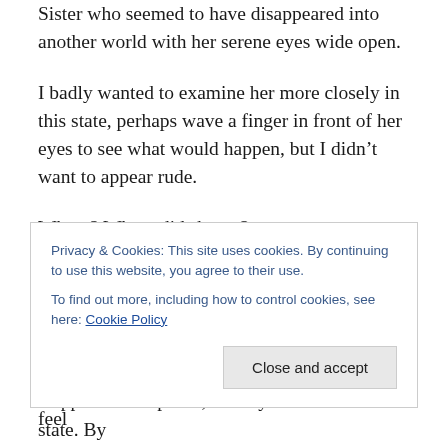Sister who seemed to have disappeared into another world with her serene eyes wide open.
I badly wanted to examine her more closely in this state, perhaps wave a finger in front of her eyes to see what would happen, but I didn't want to appear rude.
Where? Where did she go?
Of course her answers didn't satisfy my restless mind, because a “peaceful place” cannot be grasped by the mind. It has to be experienced. How does one describe happy? She asks. One needs to be happy in order to feel
Privacy & Cookies: This site uses cookies. By continuing to use this website, you agree to their use.
To find out more, including how to control cookies, see here: Cookie Policy
Happiness and peace, she says is our natural state. By